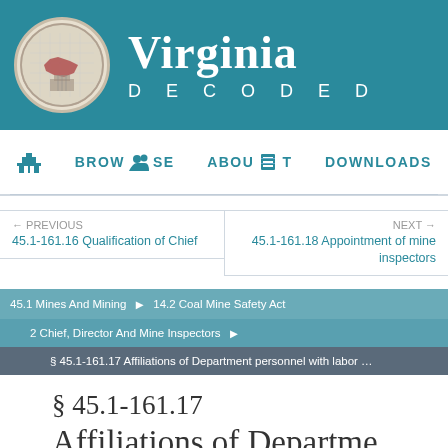Virginia Decoded
[Figure (logo): Virginia state seal in circular medallion]
BROWSE  ABOUT  DOWNLOADS
← PREVIOUS
45.1-161.16 Qualification of Chief
NEXT →
45.1-161.18 Appointment of mine inspectors
45.1 Mines And Mining  >  14.2 Coal Mine Safety Act
2 Chief, Director And Mine Inspectors
§ 45.1-161.17 Affiliations of Department personnel with labor …
§ 45.1-161.17
Affiliations of Departme...